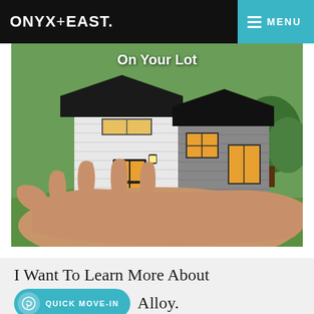ONYX+EAST.
[Figure (photo): A miniature house model held in a human hand over a green lawn background, with the text 'On Your Lot' overlaid at the top center.]
I Want To Learn More About
QUICK MOVE-IN
Alloy.